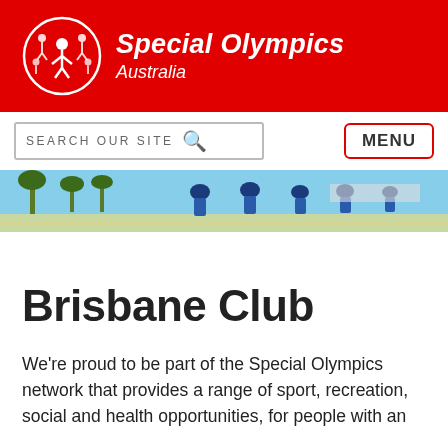Special Olympics Australia
[Figure (screenshot): Special Olympics Australia website header with red background, white logo (circle with figures), bold italic text 'Special Olympics Australia', search bar, and MENU button]
[Figure (photo): Photo strip showing people wearing blue caps at an outdoor sporting event with palm trees and blue sky]
Brisbane Club
We're proud to be part of the Special Olympics network that provides a range of sport, recreation, social and health opportunities, for people with an intellectual disability, as part of the global health and